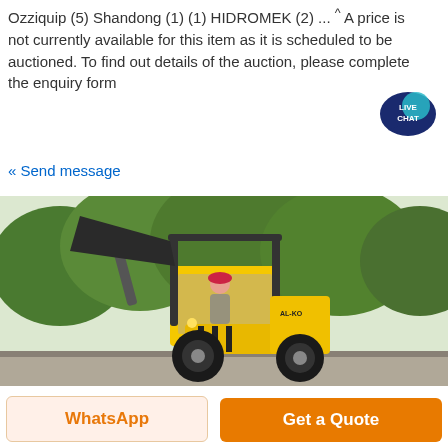Ozziquip (5) Shandong (1) (1) HIDROMEK (2) ... ^ A price is not currently available for this item as it is scheduled to be auctioned. To find out details of the auction, please complete the enquiry form
[Figure (other): Live Chat speech bubble badge in teal/navy blue with text LIVE CHAT]
« Send message
[Figure (photo): Yellow compact wheel loader / mini loader with a bucket raised, operator wearing a pink hard hat, green trees in background, on a road]
WhatsApp
Get a Quote